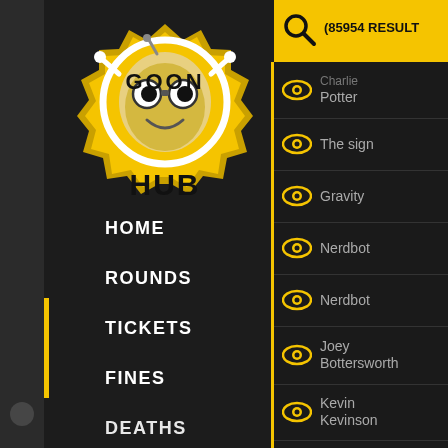[Figure (logo): GoonHub logo: yellow gear/badge shape with cartoon bug face, text GOON HUB]
HOME
ROUNDS
TICKETS
FINES
DEATHS
(85954 RESULT
Charlie Potter
The sign
Gravity
Nerdbot
Nerdbot
Joey Bottersworth
Kevin Kevinson
The